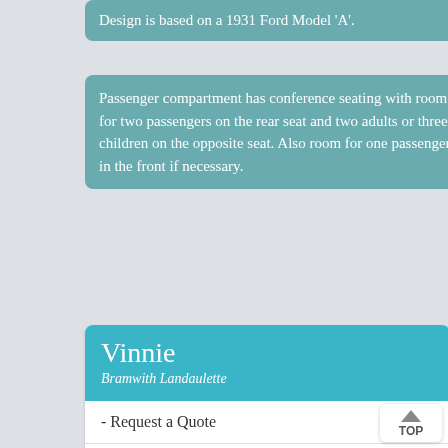Design is based on a 1931 Ford Model 'A'.
Passenger compartment has conference seating with room for two passengers on the rear seat and two adults or three children on the opposite seat. Also room for one passenger in the front if necessary.
Vinnie
Bramwith Landaulette
- Request a Quote
James
Regent Landaulette
Billy
Imperial Landaulette
Henry
Imperial Landaulette